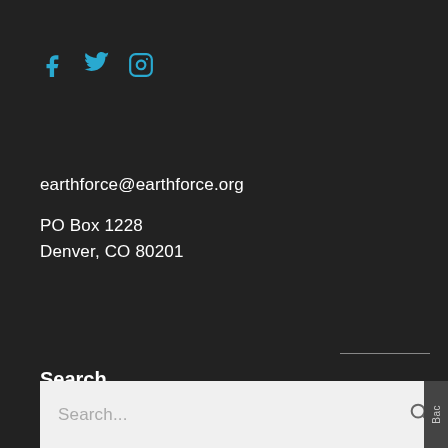[Figure (infographic): Social media icons: Facebook (f), Twitter (bird), Instagram (camera) in cyan/teal color]
earthforce@earthforce.org
PO Box 1228
Denver, CO 80201
Search
[Figure (screenshot): Search input box with placeholder text 'Search...' and a search magnifying glass icon, with a dark vertical tab on the right side reading 'Bac']